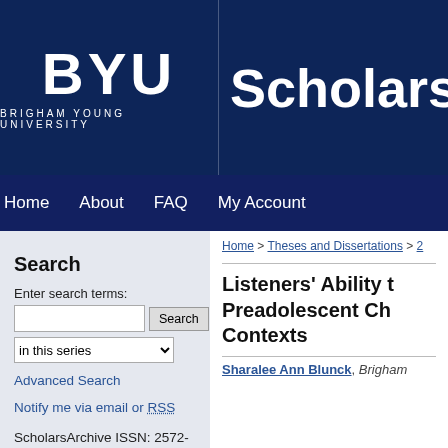[Figure (logo): BYU Brigham Young University logo and ScholarsArchive header banner on dark navy background]
Home   About   FAQ   My Account
Search
Enter search terms:
in this series
Advanced Search
Notify me via email or RSS
ScholarsArchive ISSN: 2572-4479
Home > Theses and Dissertations > ...
Listeners' Ability t... Preadolescent Ch... Contexts
Sharalee Ann Blunck, Brigham...